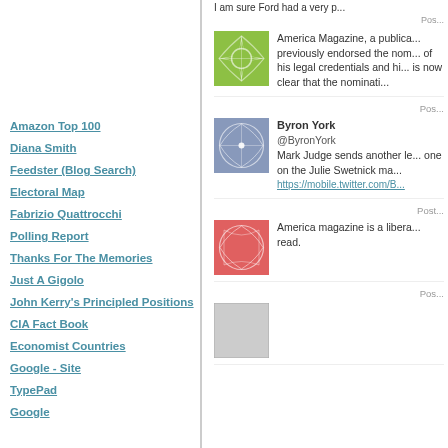Amazon Top 100
Diana Smith
Feedster (Blog Search)
Electoral Map
Fabrizio Quattrocchi
Polling Report
Thanks For The Memories
Just A Gigolo
John Kerry's Principled Positions
CIA Fact Book
Economist Countries
Google - Site
TypePad
Google
America Magazine, a publication that previously endorsed the nomination because of his legal credentials and his integrity, is now clear that the nomination...
Byron York @ByronYork Mark Judge sends another letter, this one on the Julie Swetnick matter. https://mobile.twitter.com/B...
America magazine is a liberal Jesuit read.